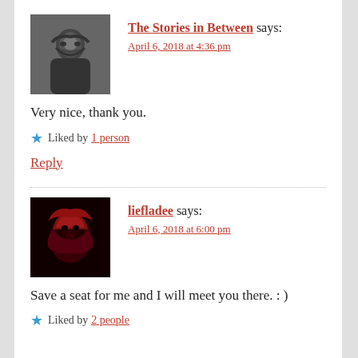[Figure (photo): Black and white avatar photo of a man with long hair and beard]
The Stories in Between says:
April 6, 2018 at 4:36 pm
Very nice, thank you.
★ Liked by 1 person
Reply
[Figure (photo): Dark avatar photo of a woman with red hair]
liefladee says:
April 6, 2018 at 6:00 pm
Save a seat for me and I will meet you there. : )
★ Liked by 2 people